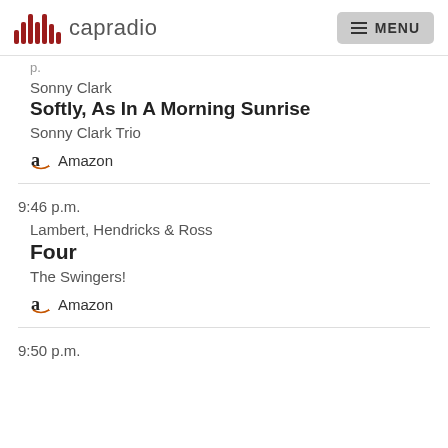capradio  MENU
Sonny Clark
Softly, As In A Morning Sunrise
Sonny Clark Trio
Amazon
9:46 p.m.
Lambert, Hendricks & Ross
Four
The Swingers!
Amazon
9:50 p.m.